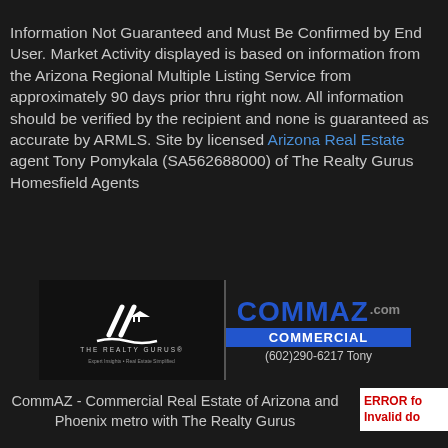Information Not Guaranteed and Must Be Confirmed by End User. Market Activity displayed is based on information from the Arizona Regional Multiple Listing Service from approximately 90 days prior thru right now. All information should be verified by the recipient and none is guaranteed as accurate by ARMLS. Site by licensed Arizona Real Estate agent Tony Pomykala (SA562688000) of The Realty Gurus Homesfield Agents
[Figure (logo): The Realty Gurus logo - white stylized house/chevron mark on black background with THE REALTY GURUS text]
[Figure (logo): CommAZ.com Commercial logo - blue bold COMMAZ text with .com, blue COMMERCIAL banner, phone (602)290-6217 Tony]
CommAZ - Commercial Real Estate of Arizona and Phoenix metro with The Realty Gurus
ERROR for Invalid do